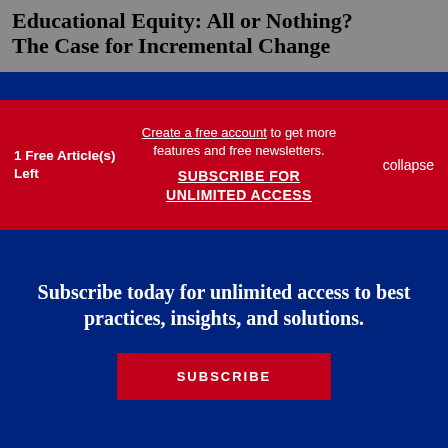Educational Equity: All or Nothing? The Case for Incremental Change
1 Free Article(s) Left
Create a free account to get more features and free newsletters. SUBSCRIBE FOR UNLIMITED ACCESS
collapse
Subscribe today for unlimited access to best practices, insights, and solutions.
SUBSCRIBE